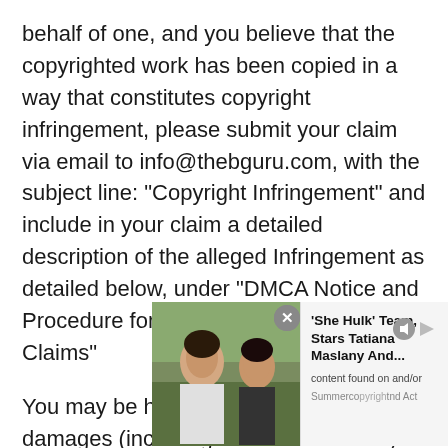behalf of one, and you believe that the copyrighted work has been copied in a way that constitutes copyright infringement, please submit your claim via email to info@thebguru.com, with the subject line: “Copyright Infringement” and include in your claim a detailed description of the alleged Infringement as detailed below, under “DMCA Notice and Procedure for Copyright Infringement Claims”

You may be held accountable for damages (including costs and attorneys’ fees) for misrepresentation or bad-faith claims on the infrin[gement] [of] content found on and/or throu[gh] [o]ur copyright [and Act]
[Figure (photo): Advertisement overlay featuring a photo of two people (She Hulk cast) with text 'She Hulk' Team, Stars Tatiana Maslany And...' and a close button]